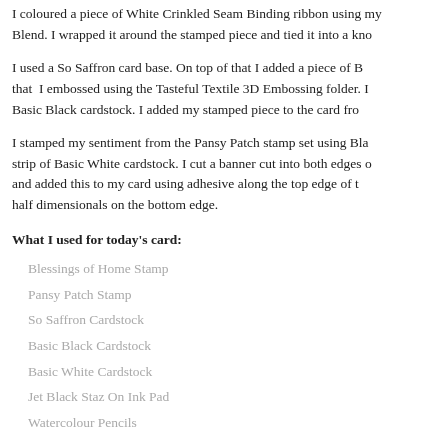I coloured a piece of White Crinkled Seam Binding ribbon using my Blend. I wrapped it around the stamped piece and tied it into a kno
I used a So Saffron card base. On top of that I added a piece of B that I embossed using the Tasteful Textile 3D Embossing folder. I Basic Black cardstock. I added my stamped piece to the card fro
I stamped my sentiment from the Pansy Patch stamp set using Bla strip of Basic White cardstock. I cut a banner cut into both edges o and added this to my card using adhesive along the top edge of t half dimensionals on the bottom edge.
What I used for today's card:
Blessings of Home Stamp
Pansy Patch Stamp
So Saffron Cardstock
Basic Black Cardstock
Basic White Cardstock
Jet Black Staz On Ink Pad
Watercolour Pencils